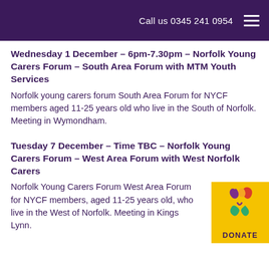Call us 0345 241 0954
Wednesday 1 December – 6pm-7.30pm – Norfolk Young Carers Forum – South Area Forum with MTM Youth Services
Norfolk young carers forum South Area Forum for NYCF members aged 11-25 years old who live in the South of Norfolk. Meeting in Wymondham.
Tuesday 7 December – Time TBC – Norfolk Young Carers Forum – West Area Forum with West Norfolk Carers
Norfolk Young Carers Forum West Area Forum for NYCF members, aged 11-25 years old, who live in the West of Norfolk. Meeting in Kings Lynn.
Monday 13 December – 6pm-8pm – Norfolk Young Carers Forum – East Area Forum with